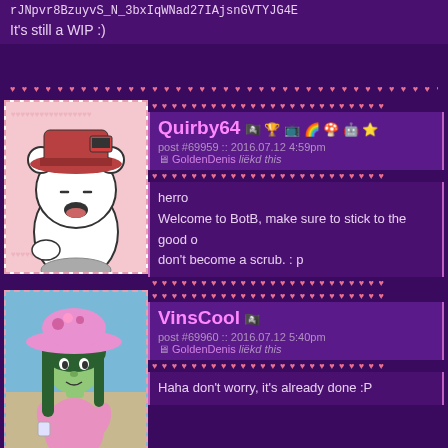rJNpvr8BzuyvS_N_3bxIqWNad27IAjsnGVTYJG4E
It's still a WIP :)
[Figure (illustration): Avatar of Quirby64 - cartoon white bear character wearing a red hat holding a red device, on pink background with hearts]
Quirby64 [badges] post #69959 :: 2016.07.12 4:59pm GoldenDenis liëkd this
herro
Welcome to BotB, make sure to stick to the good o
don't become a scrub. : p
[Figure (illustration): Avatar of VinsCool - anime-style girl with green hair wearing pink dress and large pink hat, beach background]
VinsCool [badge] post #69960 :: 2016.07.12 5:40pm GoldenDenis liëkd this
Haha don't worry, it's already done :P